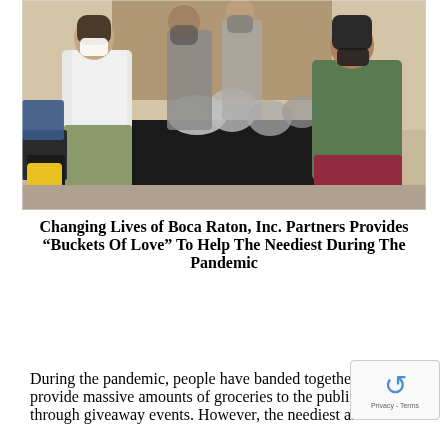[Figure (photo): Indoor scene showing multiple people wearing face masks sorting and distributing bags of supplies on a table covered with a black tablecloth. A woman in a white t-shirt and olive pants stands on the left. A person in a green long-sleeve shirt and red patterned pants leans over the table on the right. Several other masked individuals stand in the background.]
Changing Lives of Boca Raton, Inc. Partners Provides "Buckets Of Love" To Help The Neediest During The Pandemic
During the pandemic, people have banded together to provide massive amounts of groceries to the public by through giveaway events. However, the neediest amo...